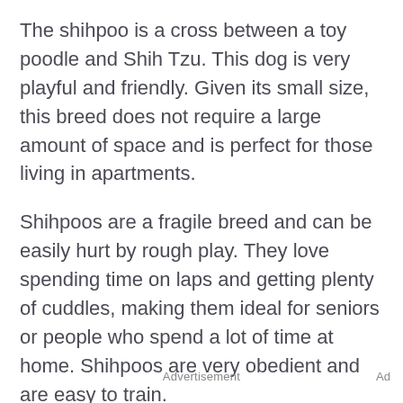The shihpoo is a cross between a toy poodle and Shih Tzu. This dog is very playful and friendly. Given its small size, this breed does not require a large amount of space and is perfect for those living in apartments.
Shihpoos are a fragile breed and can be easily hurt by rough play. They love spending time on laps and getting plenty of cuddles, making them ideal for seniors or people who spend a lot of time at home. Shihpoos are very obedient and are easy to train.
Advertisement
Ad